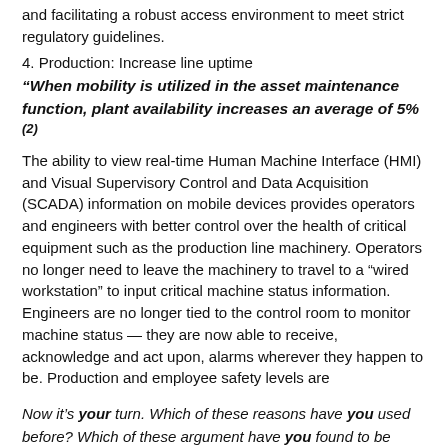and facilitating a robust access environment to meet strict regulatory guidelines.
4. Production: Increase line uptime
“When mobility is utilized in the asset maintenance function, plant availability increases an average of 5%²
The ability to view real-time Human Machine Interface (HMI) and Visual Supervisory Control and Data Acquisition (SCADA) information on mobile devices provides operators and engineers with better control over the health of critical equipment such as the production line machinery. Operators no longer need to leave the machinery to travel to a “wired workstation” to input critical machine status information. Engineers are no longer tied to the control room to monitor machine status — they are now able to receive, acknowledge and act upon, alarms wherever they happen to be. Production and employee safety levels are
Now it’s your turn. Which of these reasons have you used before? Which of these argument have you found to be most helpful or successful? Let me know in the Comments section below, and be sure to share these tips with your network.